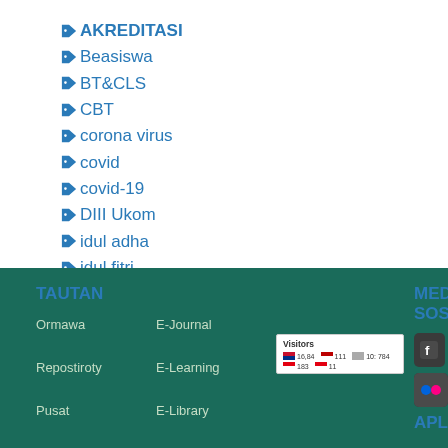AKREDITASI
Beasiswa
BT&CLS
CBT
corona virus
covid
covid-19
DIII Ukom
idul adha
idul fitri
TAUTAN
Ormawa
Repostiroty
Pusat
Hubungan Internasional
Pusat
E-Journal
E-Learning
E-Library
SIAKAD
(Sistem Informasi
[Figure (other): Visitors widget showing flag statistics]
MEDIA SOSIAL
[Figure (other): Social media icons: Facebook, Twitter, YouTube, Flickr, Instagram]
APLIKASI